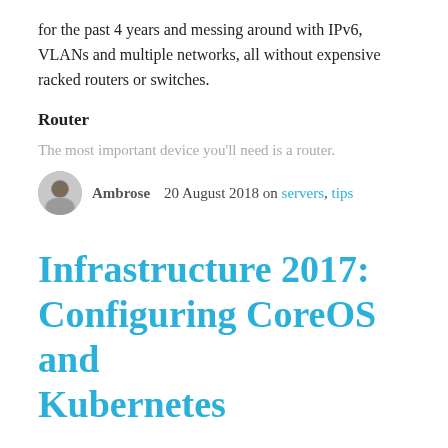for the past 4 years and messing around with IPv6, VLANs and multiple networks, all without expensive racked routers or switches.
Router
The most important device you'll need is a router.
Ambrose   20 August 2018 on servers, tips
Infrastructure 2017: Configuring CoreOS and Kubernetes
With the new infrastructure, I wanted the entire setup to be reproducible from a set of configuration files and scripts. This would mean that I can restore